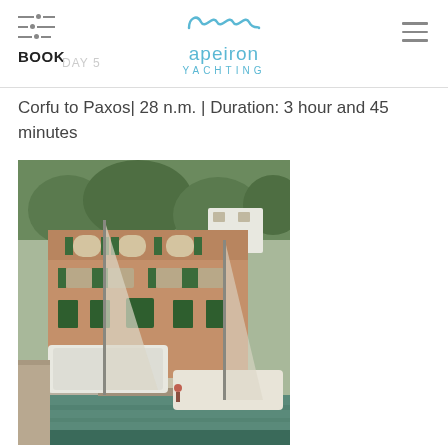BOOK | apeiron YACHTING
Corfu to Paxos| 28 n.m. | Duration: 3 hour and 45 minutes
[Figure (photo): Harbor scene with sailboats moored in front of a large old multi-story building with green shutters, surrounded by lush hillside vegetation. Two white sailboats are visible in the foreground on calm water.]